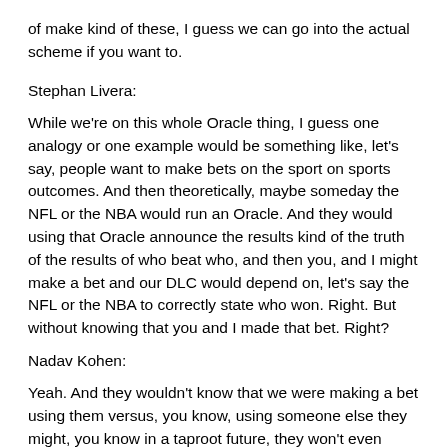of make kind of these, I guess we can go into the actual scheme if you want to.
Stephan Livera:
While we're on this whole Oracle thing, I guess one analogy or one example would be something like, let's say, people want to make bets on the sport on sports outcomes. And then theoretically, maybe someday the NFL or the NBA would run an Oracle. And they would using that Oracle announce the results kind of the truth of the results of who beat who, and then you, and I might make a bet and our DLC would depend on, let's say the NFL or the NBA to correctly state who won. Right. But without knowing that you and I made that bet. Right?
Nadav Kohen:
Yeah. And they wouldn't know that we were making a bet using them versus, you know, using someone else they might, you know in a taproot future, they won't even know that like a DLC happened. And even in the case that you like make some kind of